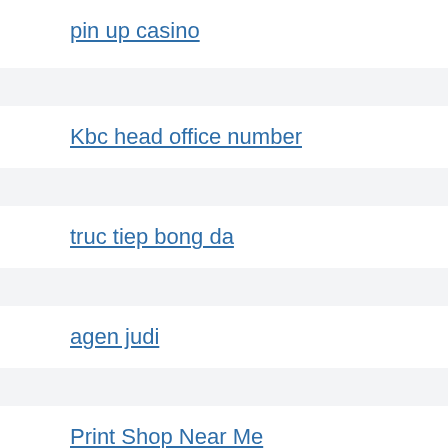pin up casino
Kbc head office number
truc tiep bong da
agen judi
Print Shop Near Me